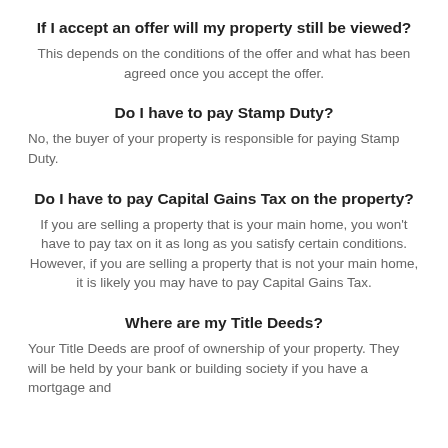If I accept an offer will my property still be viewed?
This depends on the conditions of the offer and what has been agreed once you accept the offer.
Do I have to pay Stamp Duty?
No, the buyer of your property is responsible for paying Stamp Duty.
Do I have to pay Capital Gains Tax on the property?
If you are selling a property that is your main home, you won't have to pay tax on it as long as you satisfy certain conditions. However, if you are selling a property that is not your main home, it is likely you may have to pay Capital Gains Tax.
Where are my Title Deeds?
Your Title Deeds are proof of ownership of your property. They will be held by your bank or building society if you have a mortgage and